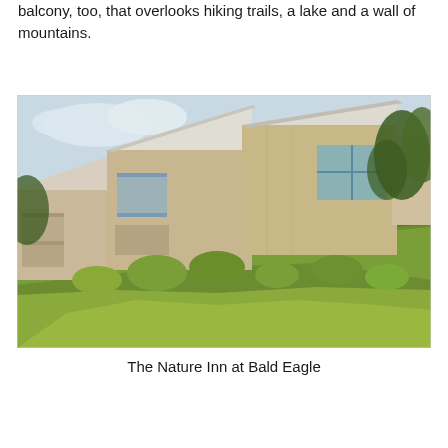balcony, too, that overlooks hiking trails, a lake and a wall of mountains.
[Figure (photo): Exterior photo of The Nature Inn at Bald Eagle, showing multi-unit lodge buildings with metal roofs built on a steep hillside covered in green vegetation and shrubs, taken from below looking upward.]
The Nature Inn at Bald Eagle